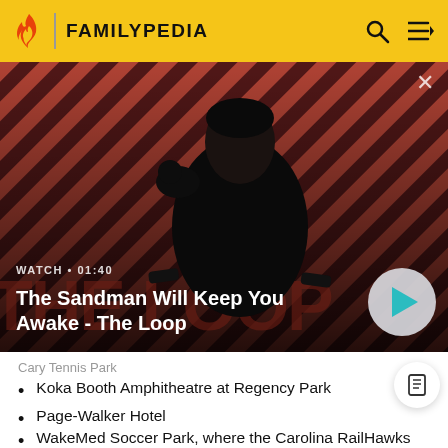FAMILYPEDIA
[Figure (screenshot): Video thumbnail showing a man in dark clothing with a raven on his shoulder, against a red and dark diagonal striped background. Text overlay: WATCH • 01:40. Title: The Sandman Will Keep You Awake - The Loop. Play button on right.]
Cary Tennis Park
Koka Booth Amphitheatre at Regency Park
Page-Walker Hotel
WakeMed Soccer Park, where the Carolina RailHawks play